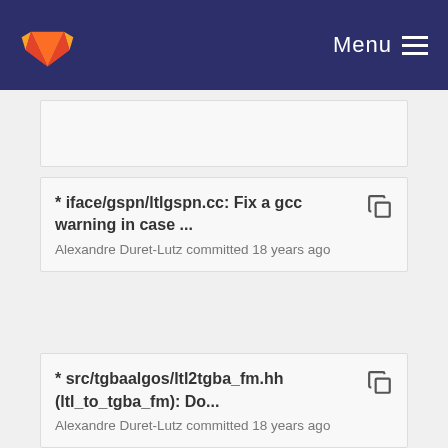Menu
* iface/gspn/ltlgspn.cc: Fix a gcc warning in case ...
Alexandre Duret-Lutz committed 18 years ago
* src/tgbaalgos/ltl2tgba_fm.hh (ltl_to_tgba_fm): Do...
Alexandre Duret-Lutz committed 18 years ago